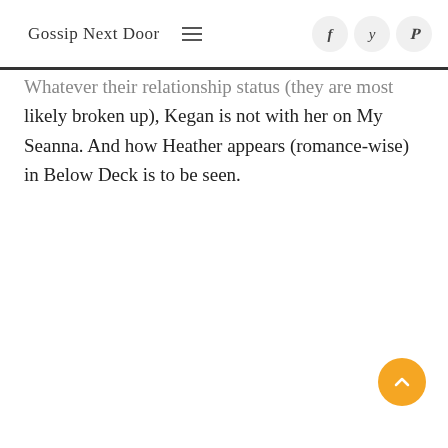Gossip Next Door
Whatever their relationship status (they are most likely broken up), Kegan is not with her on My Seanna. And how Heather appears (romance-wise) in Below Deck is to be seen.